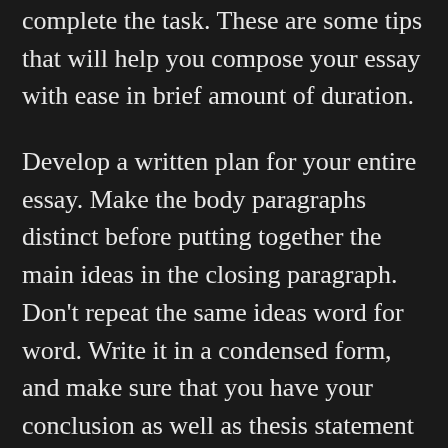complete the task. These are some tips that will help you compose your essay with ease in brief amount of duration.
Develop a written plan for your entire essay. Make the body paragraphs distinct before putting together the main ideas in the closing paragraph. Don't repeat the same ideas word for word. Write it in a condensed form, and make sure that you have your conclusion as well as thesis statement included. In addition, be sure to stick to the word limit of 250 words. After you've completed the outline it's time to concentrate your attention on the conclusion that you'll write. Conclusion is the final section of the essay. Your thesis statement should be